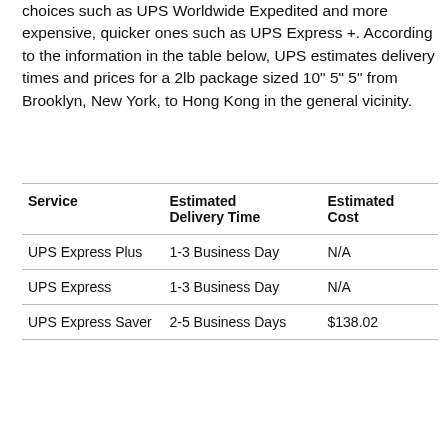choices such as UPS Worldwide Expedited and more expensive, quicker ones such as UPS Express +. According to the information in the table below, UPS estimates delivery times and prices for a 2lb package sized 10" 5" 5" from Brooklyn, New York, to Hong Kong in the general vicinity.
| Service | Estimated Delivery Time | Estimated Cost |
| --- | --- | --- |
| UPS Express Plus | 1-3 Business Day | N/A |
| UPS Express | 1-3 Business Day | N/A |
| UPS Express Saver | 2-5 Business Days | $138.02 |